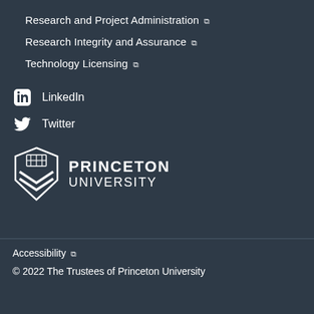Research and Project Administration ↗
Research Integrity and Assurance ↗
Technology Licensing ↗
in  LinkedIn
Twitter
[Figure (logo): Princeton University shield logo with text PRINCETON UNIVERSITY]
Accessibility ↗
© 2022 The Trustees of Princeton University